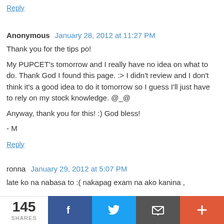Reply
Anonymous  January 28, 2012 at 11:27 PM
Thank you for the tips po!

My PUPCET's tomorrow and I really have no idea on what to do. Thank God I found this page. :> I didn't review and I don't think it's a good idea to do it tomorrow so I guess I'll just have to rely on my stock knowledge. @_@

Anyway, thank you for this! :) God bless!

- M
Reply
ronna  January 29, 2012 at 5:07 PM
late ko na nabasa to :( nakapag exam na ako kanina ,
145 SHARES